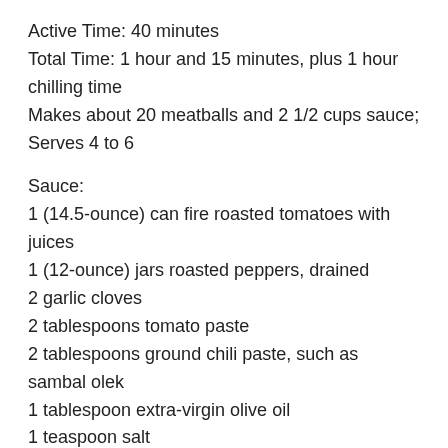Active Time: 40 minutes
Total Time: 1 hour and 15 minutes, plus 1 hour chilling time
Makes about 20 meatballs and 2 1/2 cups sauce; Serves 4 to 6
Sauce:
1 (14.5-ounce) can fire roasted tomatoes with juices
1 (12-ounce) jars roasted peppers, drained
2 garlic cloves
2 tablespoons tomato paste
2 tablespoons ground chili paste, such as sambal olek
1 tablespoon extra-virgin olive oil
1 teaspoon salt
1 teaspoon ground cumin
1/2 teaspoon ground coriander
1/4 teaspoon freshly ground black pepper
Meatballs: